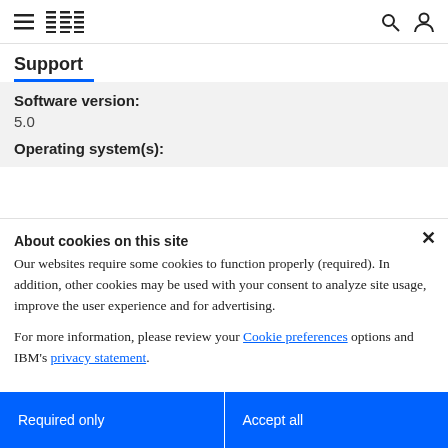IBM Support
Support
Software version:
5.0
Operating system(s):
About cookies on this site
Our websites require some cookies to function properly (required). In addition, other cookies may be used with your consent to analyze site usage, improve the user experience and for advertising.
For more information, please review your Cookie preferences options and IBM's privacy statement.
Required only
Accept all